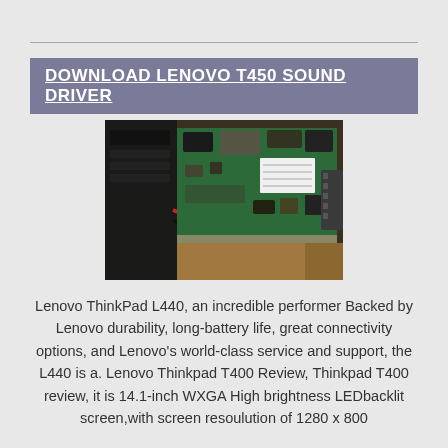DOWNLOAD LENOVO T450 SOUND DRIVER
[Figure (photo): Photo of a Lenovo laptop motherboard/circuit board showing green PCB with components, connectors, and wiring]
Lenovo ThinkPad L440, an incredible performer Backed by Lenovo durability, long-battery life, great connectivity options, and Lenovo's world-class service and support, the L440 is a. Lenovo Thinkpad T400 Review, Thinkpad T400 review, it is 14.1-inch WXGA High brightness LEDbacklit screen,with screen resoulution of 1280 x 800